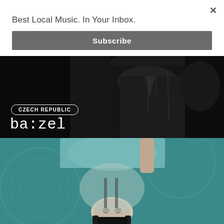×
Best Local Music. In Your Inbox.
Subscribe
[Figure (photo): Two people dressed in black clothing photographed in a dark setting; overlaid with a country badge reading CZECH REPUBLIC and artist name ba:zel in white text]
[Figure (photo): A person photographed upside-down against a teal/turquoise background with decorative patterns]